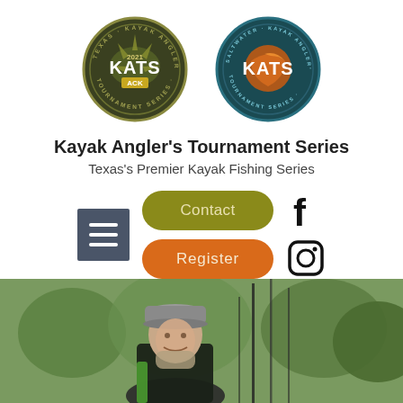[Figure (logo): KATS 2021 Kayak Angler's Tournament Series logo - circular badge with olive/dark green tones, ACK branding, fish design]
[Figure (logo): KATS Saltwater Kayak Angler's Tournament Series logo - circular badge with teal and orange tones, fish design]
Kayak Angler's Tournament Series
Texas's Premier Kayak Fishing Series
[Figure (infographic): Navigation row with hamburger menu icon, Contact button (olive/yellow-green), Register button (orange), Facebook icon, and Instagram icon]
[Figure (photo): Photo of a man wearing a gray cap and black jacket with green accent, holding fishing rods outdoors with green foliage background]